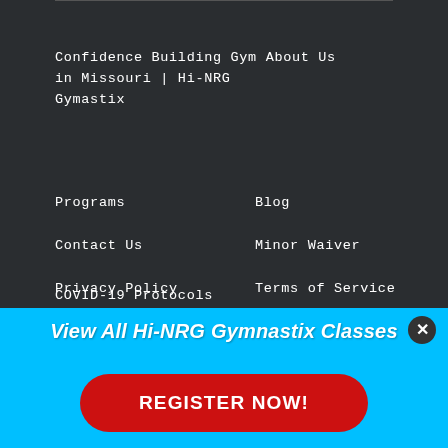Confidence Building Gym About Us in Missouri | Hi-NRG Gymastix
Programs
Blog
Contact Us
Minor Waiver
Privacy Policy
Terms of Service
COVID-19 Protocols
View All Hi-NRG Gymnastix Classes
REGISTER NOW!